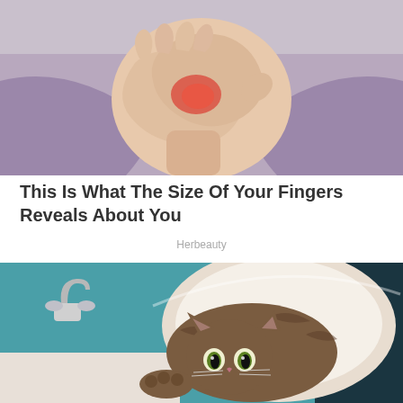[Figure (photo): A woman in a lavender shirt holding her right wrist/hand with her left hand, with a red highlighted area on the palm/wrist suggesting pain or inflammation. Light gray background.]
This Is What The Size Of Your Fingers Reveals About You
Herbeauty
[Figure (photo): A brown tabby cat sitting inside a bathroom sink, looking at the camera with wide eyes. A silver faucet is visible on the left, teal/turquoise wall behind. The cat's front paws rest on the edge of the sink.]